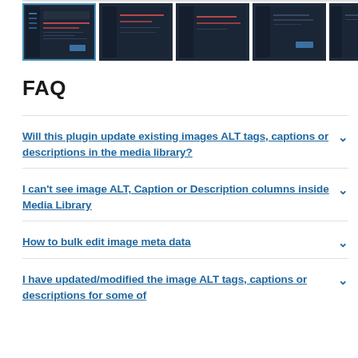[Figure (screenshot): Row of 5 thumbnail screenshots showing a dark-themed plugin admin interface with red-highlighted elements]
FAQ
Will this plugin update existing images ALT tags, captions or descriptions in the media library?
I can't see image ALT, Caption or Description columns inside Media Library
How to bulk edit image meta data
I have updated/modified the image ALT tags, captions or descriptions for some of